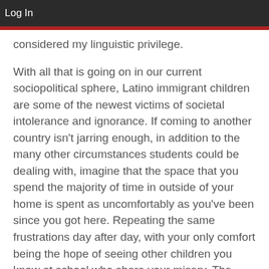Log In
considered my linguistic privilege.
With all that is going on in our current sociopolitical sphere, Latino immigrant children are some of the newest victims of societal intolerance and ignorance. If coming to another country isn't jarring enough, in addition to the many other circumstances students could be dealing with, imagine that the space that you spend the majority of time in outside of your home is spent as uncomfortably as you've been since you got here. Repeating the same frustrations day after day, with your only comfort being the hope of seeing other children you know at school who share your misery. The people around you don't seem to understand any of what you say, you don't understand the majority of what they say,